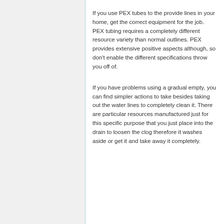If you use PEX tubes to the provide lines in your home, get the correct equipment for the job. PEX tubing requires a completely different resource variety than normal outlines. PEX provides extensive positive aspects although, so don't enable the different specifications throw you off of.
If you have problems using a gradual empty, you can find simpler actions to take besides taking out the water lines to completely clean it. There are particular resources manufactured just for this specific purpose that you just place into the drain to loosen the clog therefore it washes aside or get it and take away it completely.